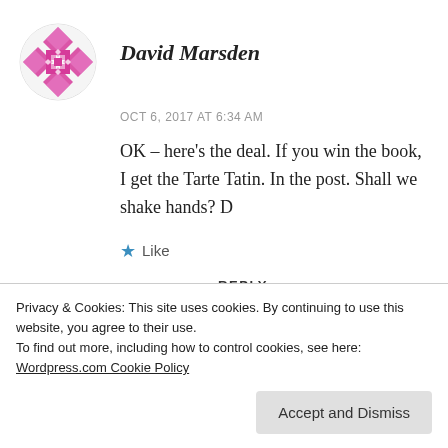David Marsden
OCT 6, 2017 AT 6:34 AM
OK – here's the deal. If you win the book, I get the Tarte Tatin. In the post. Shall we shake hands? D
★ Like
REPLY
Privacy & Cookies: This site uses cookies. By continuing to use this website, you agree to their use.
To find out more, including how to control cookies, see here:
Wordpress.com Cookie Policy
Accept and Dismiss
OCT 4, 2017 AT 8:28 PM